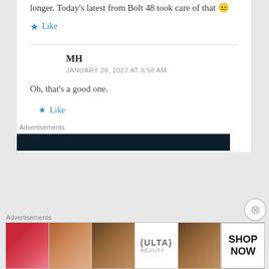longer. Today's latest from Bolt 48 took care of that 😐
★ Like
MH
JANUARY 28, 2017 AT 9:58 AM
Oh, that's a good one.
★ Like
Advertisements
[Figure (other): Dark advertisement banner bar]
Advertisements
[Figure (other): ULTA beauty advertisement banner with makeup images and SHOP NOW button]